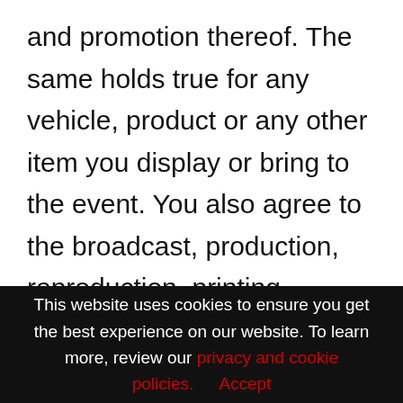and promotion thereof. The same holds true for any vehicle, product or any other item you display or bring to the event. You also agree to the broadcast, production, reproduction, printing, distribution and exhibition of any such photographs and/or recordings of the event, and any programming derived from the event, by any and all means, media,
This website uses cookies to ensure you get the best experience on our website. To learn more, review our privacy and cookie policies.        Accept